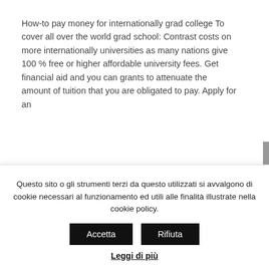How-to pay money for internationally grad college To cover all over the world grad school: Contrast costs on more internationally universities as many nations give 100 % free or higher affordable university fees. Get financial aid and you can grants to attenuate the amount of tuition that you are obligated to pay. Apply for an
PAYDAY LOAN DURING THE GEORGIA ARE UNLAWFUL HOWEVER, YOU CAN FIND ALTERNATIVES FOR QUICK CASH ON THE INTERNET
Questo sito o gli strumenti terzi da questo utilizzati si avvalgono di cookie necessari al funzionamento ed utili alle finalità illustrate nella cookie policy.
Accetta
Rifiuta
Leggi di più